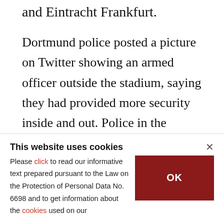and Eintracht Frankfurt.
Dortmund police posted a picture on Twitter showing an armed officer outside the stadium, saying they had provided more security inside and out. Police in the western city of Mainz said they had safely accompanied buses carrying both the Mainz and Hertha BSC soccer teams to their match on Saturday.
ABOUT THE AUTHOR
This website uses cookies
Please click to read our informative text prepared pursuant to the Law on the Protection of Personal Data No. 6698 and to get information about the cookies used on our